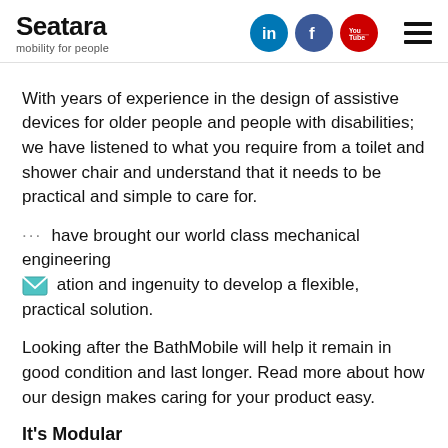Seatara mobility for people [with LinkedIn, Facebook, YouTube social icons and hamburger menu]
With years of experience in the design of assistive devices for older people and people with disabilities; we have listened to what you require from a toilet and shower chair and understand that it needs to be practical and simple to care for.
We have brought our world class mechanical engineering innovation and ingenuity to develop a flexible, practical solution.
Looking after the BathMobile will help it remain in good condition and last longer. Read more about how our design makes caring for your product easy.
It's Modular